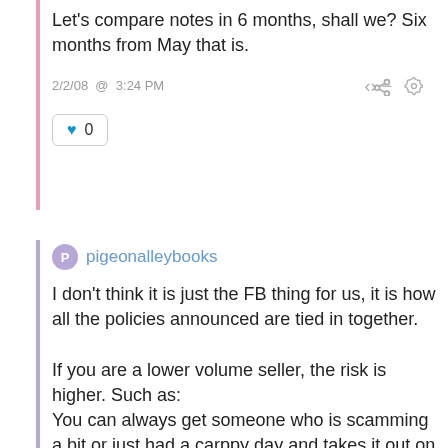Let's compare notes in 6 months, shall we? Six months from May that is.
2/2/08 @ 3:24 PM
♥ 0
pigeonalleybooks
I don't think it is just the FB thing for us, it is how all the policies announced are tied in together.

If you are a lower volume seller, the risk is higher. Such as:
You can always get someone who is scamming a bit or just had a carppy day and takes it out on you, the seller. So say your stars get dinged some, and eBay tells you that you are in the >5 percent